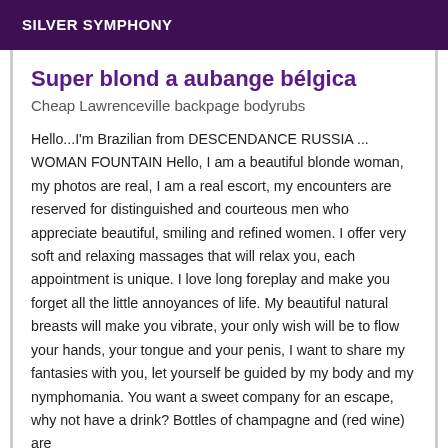SILVER SYMPHONY
Super blond a aubange bélgica
Cheap Lawrenceville backpage bodyrubs
Hello...I'm Brazilian from DESCENDANCE RUSSIA ... WOMAN FOUNTAIN Hello, I am a beautiful blonde woman, my photos are real, I am a real escort, my encounters are reserved for distinguished and courteous men who appreciate beautiful, smiling and refined women. I offer very soft and relaxing massages that will relax you, each appointment is unique. I love long foreplay and make you forget all the little annoyances of life. My beautiful natural breasts will make you vibrate, your only wish will be to flow your hands, your tongue and your penis, I want to share my fantasies with you, let yourself be guided by my body and my nymphomania. You want a sweet company for an escape, why not have a drink? Bottles of champagne and (red wine) are